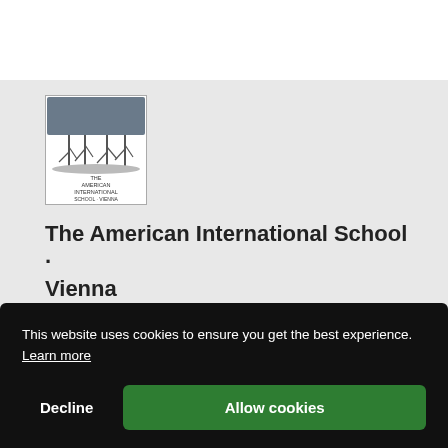[Figure (logo): The American International School Vienna logo — black and white illustration of bare trees with school name text below]
The American International School · Vienna
This website uses cookies to ensure you get the best experience. Learn more
Decline   Allow cookies